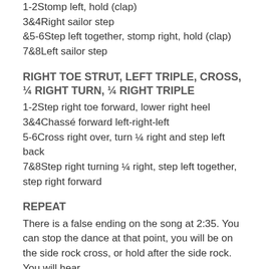1-2Stomp left, hold (clap)
3&4Right sailor step
&5-6Step left together, stomp right, hold (clap)
7&8Left sailor step
RIGHT TOE STRUT, LEFT TRIPLE, CROSS, ¼ RIGHT TURN, ¼ RIGHT TRIPLE
1-2Step right toe forward, lower right heel
3&4Chassé forward left-right-left
5-6Cross right over, turn ¼ right and step left back
7&8Step right turning ¼ right, step left together, step right forward
REPEAT
There is a false ending on the song at 2:35. You can stop the dance at that point, you will be on the side rock cross, or hold after the side rock. You will hear